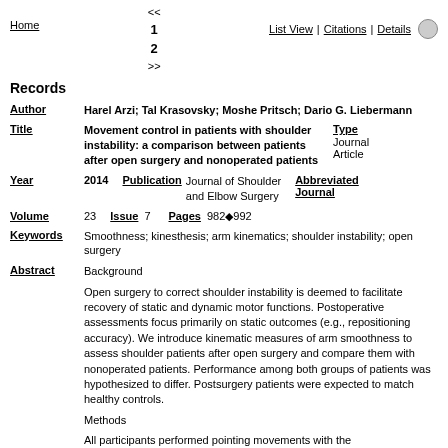<< 1 2 >> Home | List View | Citations | Details
Records
Author: Harel Arzi; Tal Krasovsky; Moshe Pritsch; Dario G. Liebermann
Title: Movement control in patients with shoulder instability: a comparison between patients after open surgery and nonoperated patients | Type: Journal Article
Year: 2014 | Publication: Journal of Shoulder and Elbow Surgery | Abbreviated Journal:
Volume: 23 | Issue: 7 | Pages: 982◆992
Keywords: Smoothness; kinesthesis; arm kinematics; shoulder instability; open surgery
Abstract: Background

Open surgery to correct shoulder instability is deemed to facilitate recovery of static and dynamic motor functions. Postoperative assessments focus primarily on static outcomes (e.g., repositioning accuracy). We introduce kinematic measures of arm smoothness to assess shoulder patients after open surgery and compare them with nonoperated patients. Performance among both groups of patients was hypothesized to differ. Postsurgery patients were expected to match healthy controls.

Methods

All participants performed pointing movements with the affected/dominant